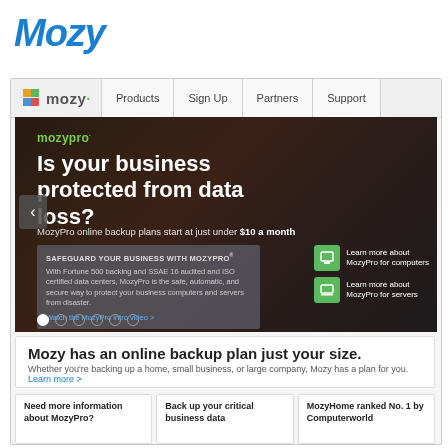Mozy
[Figure (screenshot): Mozy website screenshot showing navigation bar with Products, Sign Up, Partners, Support links, a hero banner for MozyPro with headline 'Is your business protected from data loss?', subtext about $10/month plans, info box, right-side links for MozyPro for computers and servers, dot navigation, and bottom section with 'Mozy has an online backup plan just your size' and three column cards.]